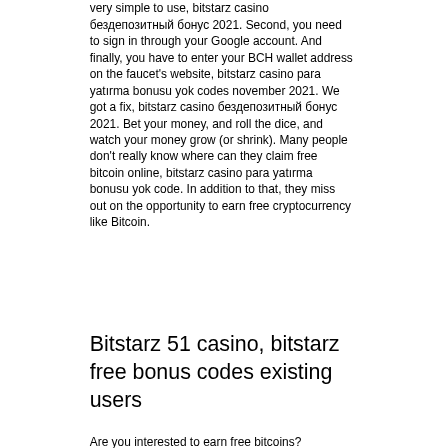very simple to use, bitstarz casino бездепозитный бонус 2021. Second, you need to sign in through your Google account. And finally, you have to enter your BCH wallet address on the faucet's website, bitstarz casino para yatırma bonusu yok codes november 2021. We got a fix, bitstarz casino бездепозитный бонус 2021. Bet your money, and roll the dice, and watch your money grow (or shrink). Many people don't really know where can they claim free bitcoin online, bitstarz casino para yatırma bonusu yok code. In addition to that, they miss out on the opportunity to earn free cryptocurrency like Bitcoin.
Bitstarz 51 casino, bitstarz free bonus codes existing users
Are you interested to earn free bitcoins?